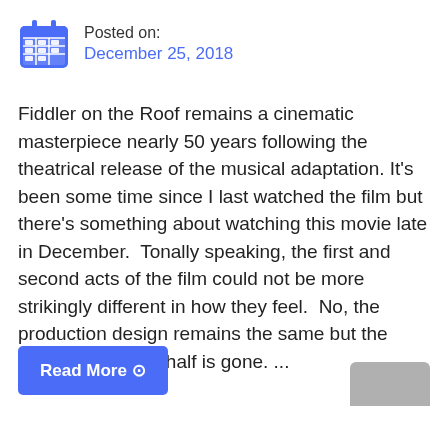Posted on:
December 25, 2018
Fiddler on the Roof remains a cinematic masterpiece nearly 50 years following the theatrical release of the musical adaptation. It's been some time since I last watched the film but there's something about watching this movie late in December.  Tonally speaking, the first and second acts of the film could not be more strikingly different in how they feel.  No, the production design remains the same but the humor of the first half is gone. ...
Read More ⊕
[Figure (illustration): Partial thumbnail image visible at bottom-right corner]